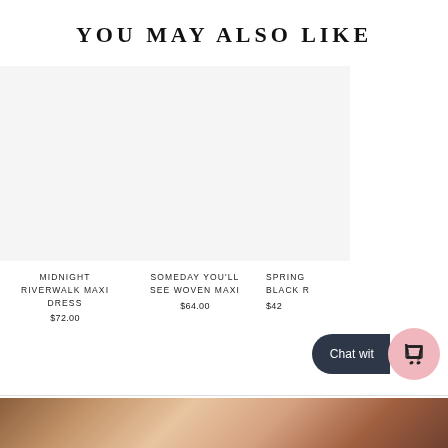YOU MAY ALSO LIKE
MIDNIGHT RIVERWALK MAXI DRESS
$72.00
SOMEDAY YOU'LL SEE WOVEN MAXI
$64.00
SPRING BLACK R
$42
[Figure (screenshot): Chat widget with dark pill shape saying 'Chat wit' and a pink circle with shopping bag icon]
[Figure (photo): Bottom strip of a photo showing warm toned fashion product imagery]